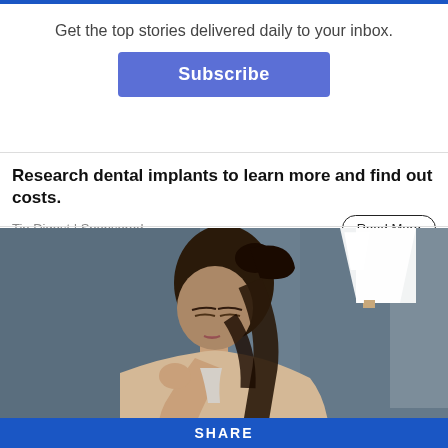Get the top stories delivered daily to your inbox.
Subscribe
Research dental implants to learn more and find out costs.
Tip Digest | Sponsored
Read More
[Figure (photo): Woman with dark hair in a ponytail looking down at her arm, seated in front of a grey-blue wall with a hanging lamp in the background.]
SHARE